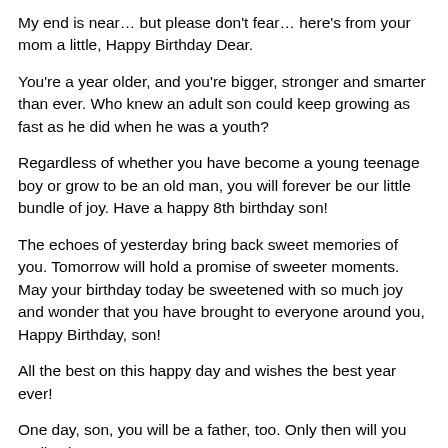My end is near… but please don't fear… here's from your mom a little, Happy Birthday Dear.
You're a year older, and you're bigger, stronger and smarter than ever. Who knew an adult son could keep growing as fast as he did when he was a youth?
Regardless of whether you have become a young teenage boy or grow to be an old man, you will forever be our little bundle of joy. Have a happy 8th birthday son!
The echoes of yesterday bring back sweet memories of you. Tomorrow will hold a promise of sweeter moments. May your birthday today be sweetened with so much joy and wonder that you have brought to everyone around you, Happy Birthday, son!
All the best on this happy day and wishes the best year ever!
One day, son, you will be a father, too. Only then will you realize how